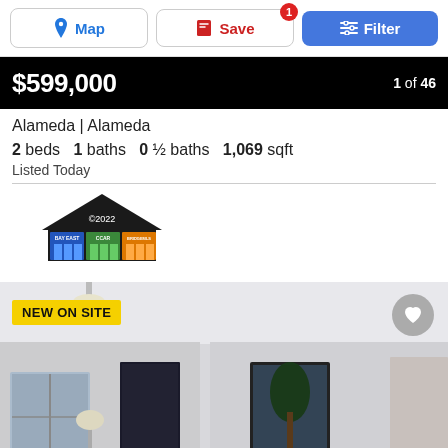Map | Save | Filter
$599,000  1 of 46
Alameda | Alameda
2 beds  1 baths  0 ½ baths  1,069 sqft
Listed Today
[Figure (logo): MLS realtor association logo with house icon and three colored building icons (blue, green, orange) and ©2022 text]
[Figure (photo): Interior room photo of a home showing a bright living area with white walls, a framed picture on the wall, a pendant light, and doorways to other rooms. 'NEW ON SITE' badge in yellow at top left. Heart/favorite button at top right.]